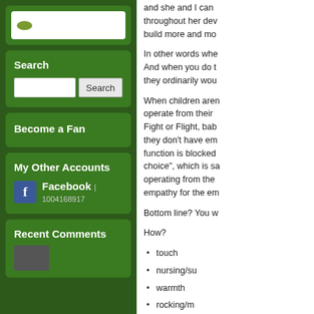[Figure (other): Search input box with leaf icon at top of left sidebar]
Search
[Figure (other): Search input field with Search button]
Become a Fan
My Other Accounts
Facebook | 1004168917
Recent Comments
and she and I can throughout her dev build more and mo
In other words whe And when you do t they ordinarily wou
When children aren operate from their Fight or Flight, bab they don't have em function is blocked choice", which is sa operating from the empathy for the em
Bottom line? You w
How?
touch
nursing/su
warmth
rocking/m